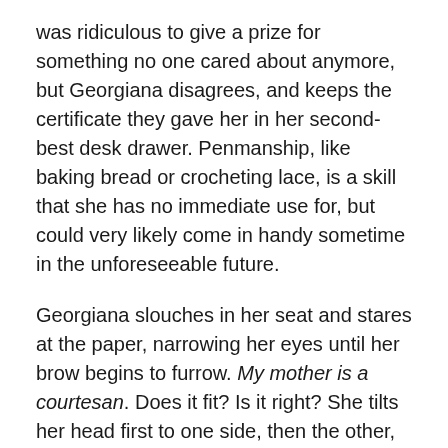was ridiculous to give a prize for something no one cared about anymore, but Georgiana disagrees, and keeps the certificate they gave her in her second-best desk drawer. Penmanship, like baking bread or crocheting lace, is a skill that she has no immediate use for, but could very likely come in handy sometime in the unforeseeable future.
Georgiana slouches in her seat and stares at the paper, narrowing her eyes until her brow begins to furrow. My mother is a courtesan. Does it fit? Is it right? She tilts her head first to one side, then the other, then slowly lets her eyes drift out of focus. She’s feeling as though she’s getting quite close to something when the sound of her mother’s keys in the door interrupts her meditation. She quickly sits up and folds the paper neatly in half, then in half again before sliding it into the pocket of her skirt. A